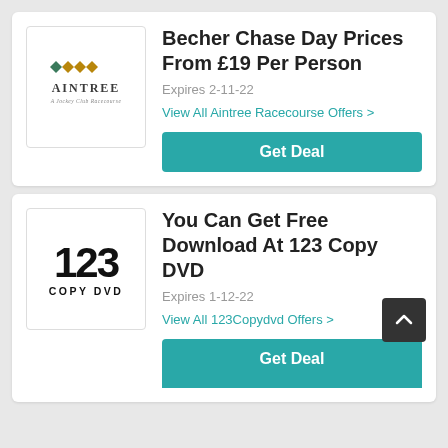[Figure (logo): Aintree - A Jockey Club Racecourse logo with four diamond shapes in green and gold]
Becher Chase Day Prices From £19 Per Person
Expires 2-11-22
View All Aintree Racecourse Offers >
Get Deal
[Figure (logo): 123 Copy DVD logo in bold black text]
You Can Get Free Download At 123 Copy DVD
Expires 1-12-22
View All 123Copydvd Offers >
Get Deal